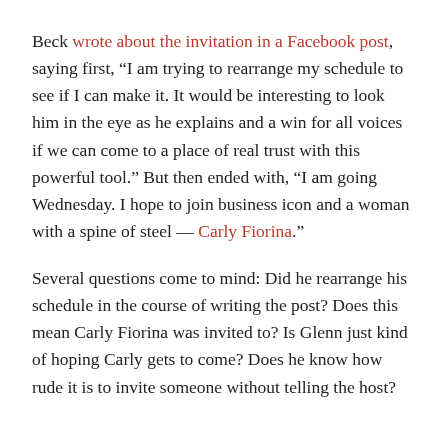Beck wrote about the invitation in a Facebook post, saying first, “I am trying to rearrange my schedule to see if I can make it. It would be interesting to look him in the eye as he explains and a win for all voices if we can come to a place of real trust with this powerful tool.” But then ended with, “I am going Wednesday. I hope to join business icon and a woman with a spine of steel — Carly Fiorina.”
Several questions come to mind: Did he rearrange his schedule in the course of writing the post? Does this mean Carly Fiorina was invited to? Is Glenn just kind of hoping Carly gets to come? Does he know how rude it is to invite someone without telling the host?